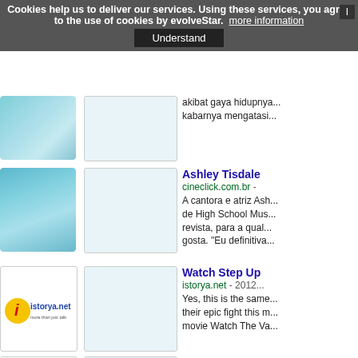Cookies help us to deliver our services. Using these services, you agree to the use of cookies by evolveStar.  more information  Understand
[Figure (screenshot): Blue-teal abstract image thumbnail, first row left]
[Figure (screenshot): White/light box thumbnail, first row middle]
akibat gaya hidupnya... kabarnya mengatasi...
[Figure (screenshot): Blue abstract box shapes thumbnail, second row left]
[Figure (screenshot): White/light box thumbnail, second row middle]
Ashley Tisdale
cineclick.com.br -
A cantora e atriz Ashley de High School Musical revista, para a qual gosta. "Eu definitiva
[Figure (logo): istorya.net logo - white background with yellow/red icon and blue text 'istorya.net more than just talk']
[Figure (screenshot): White/light box thumbnail, third row middle]
Watch Step Up
istorya.net - 2012
Yes, this is the same... their epic fight this m... movie Watch The Va...
[Figure (logo): The Huffington Post logo thumbnail]
[Figure (screenshot): White/light box thumbnail, fourth row middle]
Alexis Neiers, R
huffingtonpost.ca
Based on the theatr... film, "The Bling Ring...